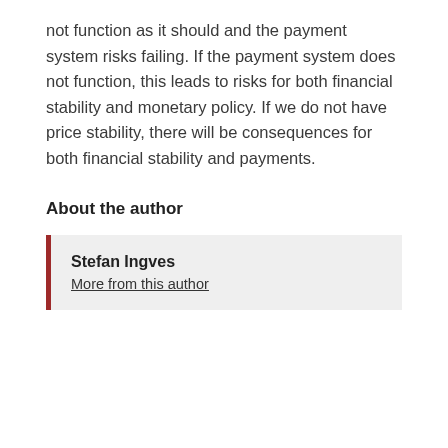not function as it should and the payment system risks failing. If the payment system does not function, this leads to risks for both financial stability and monetary policy. If we do not have price stability, there will be consequences for both financial stability and payments.
About the author
Stefan Ingves
More from this author